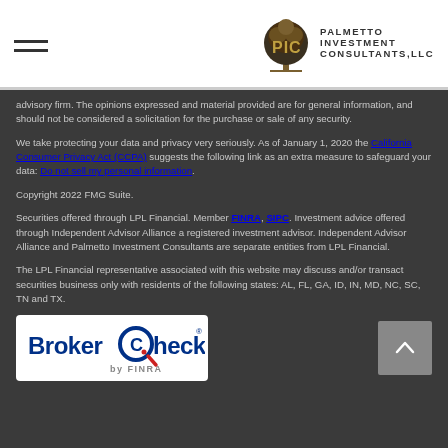Palmetto Investment Consultants, LLC
advisory firm. The opinions expressed and material provided are for general information, and should not be considered a solicitation for the purchase or sale of any security.
We take protecting your data and privacy very seriously. As of January 1, 2020 the California Consumer Privacy Act (CCPA) suggests the following link as an extra measure to safeguard your data: Do not sell my personal information.
Copyright 2022 FMG Suite.
Securities offered through LPL Financial. Member FINRA, SIPC. Investment advice offered through Independent Advisor Alliance a registered investment advisor. Independent Advisor Alliance and Palmetto Investment Consultants are separate entities from LPL Financial.
The LPL Financial representative associated with this website may discuss and/or transact securities business only with residents of the following states: AL, FL, GA, ID, IN, MD, NC, SC, TN and TX.
[Figure (logo): BrokerCheck by FINRA logo]